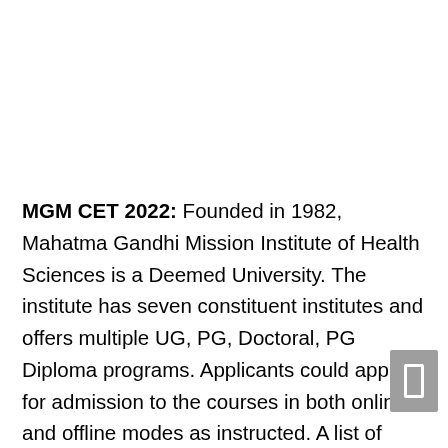MGM CET 2022: Founded in 1982, Mahatma Gandhi Mission Institute of Health Sciences is a Deemed University. The institute has seven constituent institutes and offers multiple UG, PG, Doctoral, PG Diploma programs. Applicants could apply for admission to the courses in both online and offline modes as instructed. A list of courses provided through MGMIHS Admission 2022 is given below. Get more details about MGMIHS Admission 2022 in the following article.